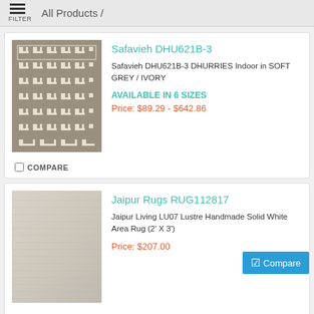FILTER  All Products /
[Figure (photo): Safavieh DHU621B-3 rug with geometric Greek key pattern in soft grey and ivory]
Safavieh DHU621B-3
Safavieh DHU621B-3 DHURRIES Indoor in SOFT GREY / IVORY
AVAILABLE IN 6 SIZES
Price: $89.29 - $642.86
COMPARE
[Figure (photo): Jaipur Rugs RUG112817 solid white/cream handmade area rug with subtle texture]
Jaipur Rugs RUG112817
Jaipur Living LU07 Lustre Handmade Solid White Area Rug (2' X 3')
Price: $207.00
Compare
COMPARE